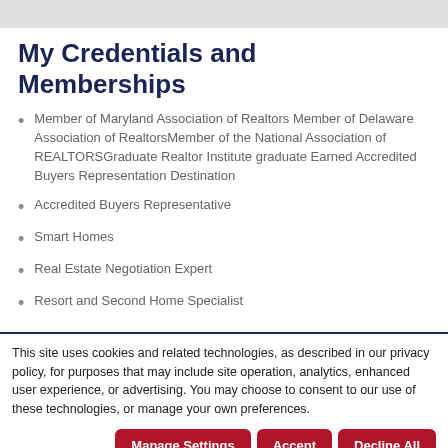My Credentials and Memberships
Member of Maryland Association of Realtors Member of Delaware Association of RealtorsMember of the National Association of REALTORSGraduate Realtor Institute graduate Earned Accredited Buyers Representation Destination
Accredited Buyers Representative
Smart Homes
Real Estate Negotiation Expert
Resort and Second Home Specialist
This site uses cookies and related technologies, as described in our privacy policy, for purposes that may include site operation, analytics, enhanced user experience, or advertising. You may choose to consent to our use of these technologies, or manage your own preferences.
Manage Settings | Accept | Decline All